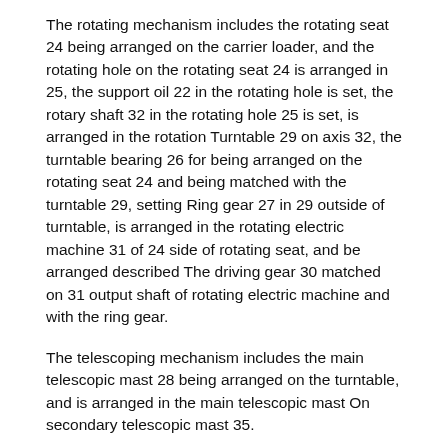The rotating mechanism includes the rotating seat 24 being arranged on the carrier loader, and the rotating hole on the rotating seat 24 is arranged in 25, the support oil 22 in the rotating hole is set, the rotary shaft 32 in the rotating hole 25 is set, is arranged in the rotation Turntable 29 on axis 32, the turntable bearing 26 for being arranged on the rotating seat 24 and being matched with the turntable 29, setting Ring gear 27 in 29 outside of turntable, is arranged in the rotating electric machine 31 of 24 side of rotating seat, and be arranged described The driving gear 30 matched on 31 output shaft of rotating electric machine and with the ring gear.
The telescoping mechanism includes the main telescopic mast 28 being arranged on the turntable, and is arranged in the main telescopic mast On secondary telescopic mast 35.
It is described across mechanism include secondary 35 upper end of telescopic mast is set cross over platform 7, setting is described across flat Main span on platform 7 gets over telescopic arm 6, be arranged in it is described across on platform 7 and with the main span